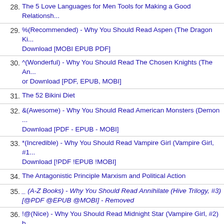28. The 5 Love Languages for Men Tools for Making a Good Relationship...
29. %(Recommended) - Why You Should Read Aspen (The Dragon Ki... Download [MOBI EPUB PDF]
30. ^(Wonderful) - Why You Should Read The Chosen Knights (The An... or Download [PDF, EPUB, MOBI]
31. The 52 Bikini Diet
32. &(Awesome) - Why You Should Read American Monsters (Demon ... Download [PDF - EPUB - MOBI]
33. *(Incredible) - Why You Should Read Vampire Girl (Vampire Girl, #1... Download [!PDF !EPUB !MOBI]
34. The Antagonistic Principle Marxism and Political Action
35. _ (A-Z Books) - Why You Should Read Annihilate (Hive Trilogy, #3) [@PDF @EPUB @MOBI] - Removed
36. !@(Nice) - Why You Should Read Midnight Star (Vampire Girl, #2) b... Download [#PDF #EPUB #MOBI]
37. @#(Excellent) - Why You Should Read by Online or Download [$PD...
38. Building Applications with React and Redux
39. #$(Favorable) - Why You Should Read Descent (The Immortal Chr... Online or Download [^PDF ^EPUB ^MOBI]
40. The Anti-American Manifesto